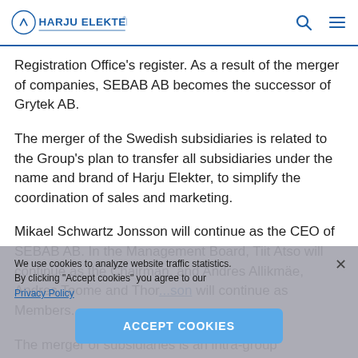Harju Elekter
Registration Office's register. As a result of the merger of companies, SEBAB AB becomes the successor of Grytek AB.
The merger of the Swedish subsidiaries is related to the Group's plan to transfer all subsidiaries under the name and brand of Harju Elekter, to simplify the coordination of sales and marketing.
Mikael Schwartz Jonsson will continue as the CEO of SEBAB AB. In the Management Board, Tiit Atso will continue as the Chairman, and Andres Allikmäe, Andres Toome and Thor...son will continue as Members.
The merger of subsidiaries is an intra-group transaction
We use cookies to analyze website traffic statistics. By clicking "Accept cookies" you agree to our Privacy Policy. ACCEPT COOKIES